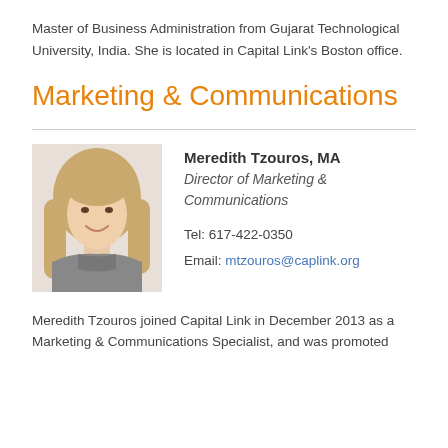Master of Business Administration from Gujarat Technological University, India. She is located in Capital Link's Boston office.
Marketing & Communications
Meredith Tzouros, MA
Director of Marketing & Communications

Tel: 617-422-0350
Email: mtzouros@caplink.org
[Figure (photo): Headshot photo of Meredith Tzouros, a woman with long blonde hair, smiling, wearing a grey turtleneck sweater.]
Meredith Tzouros joined Capital Link in December 2013 as a Marketing & Communications Specialist, and was promoted